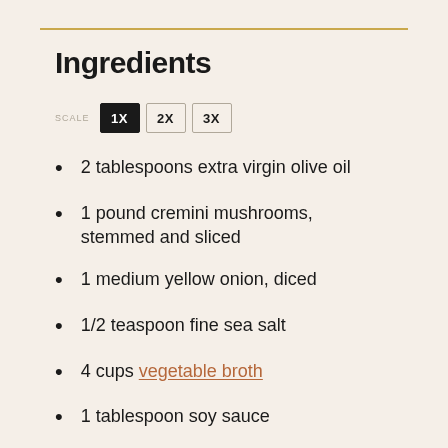Ingredients
SCALE 1X 2X 3X
2 tablespoons extra virgin olive oil
1 pound cremini mushrooms, stemmed and sliced
1 medium yellow onion, diced
1/2 teaspoon fine sea salt
4 cups vegetable broth
1 tablespoon soy sauce